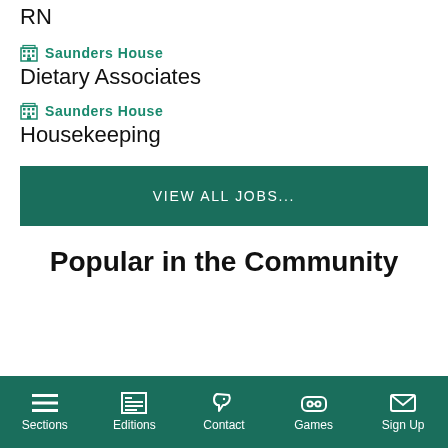RN
Saunders House
Dietary Associates
Saunders House
Housekeeping
VIEW ALL JOBS...
Popular in the Community
Sections | Editions | Contact | Games | Sign Up